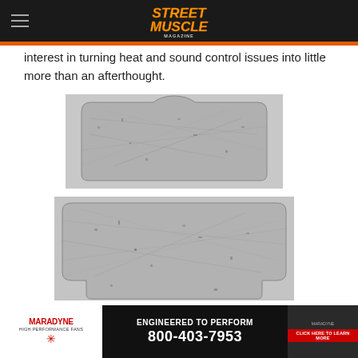Street Muscle Magazine
interest in turning heat and sound control issues into little more than an afterthought.
[Figure (photo): Photograph of a grey fibrous insulation/sound deadening mat cut to a panel shape with a curved cutout at the top center — top panel piece.]
[Figure (photo): Photograph of a grey fibrous insulation/sound deadening mat cut to a wider panel shape with side flaps folded — bottom panel piece.]
[Figure (other): Maradyne High Performance Fans advertisement banner: 'Engineered to Perform', phone number 800-403-7953, 'Click here to learn more' button.]